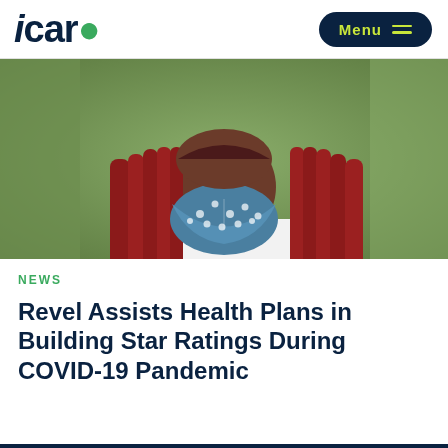icario  Menu
[Figure (photo): A Black woman with long red braids wearing a blue polka-dot face mask and white shirt, photographed outdoors with a blurred green background.]
NEWS
Revel Assists Health Plans in Building Star Ratings During COVID-19 Pandemic